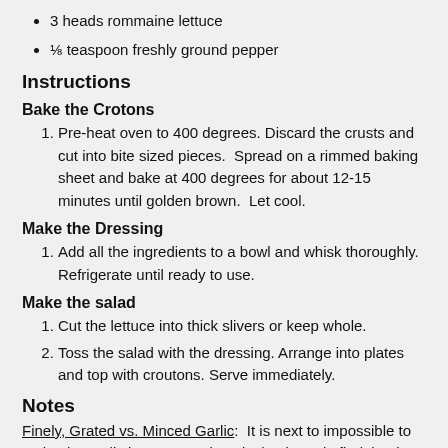3 heads rommaine lettuce
⅛ teaspoon freshly ground pepper
Instructions
Bake the Crotons
1. Pre-heat oven to 400 degrees. Discard the crusts and cut into bite sized pieces.  Spread on a rimmed baking sheet and bake at 400 degrees for about 12-15 minutes until golden brown.  Let cool.
Make the Dressing
1. Add all the ingredients to a bowl and whisk thoroughly. Refrigerate until ready to use.
Make the salad
1. Cut the lettuce into thick slivers or keep whole.
2. Toss the salad with the dressing. Arrange into plates and top with croutons. Serve immediately.
Notes
Finely, Grated vs. Minced Garlic:  It is next to impossible to make the garlic into a paste by mincing it, and I find that it never gets integrated into the dressing properly.